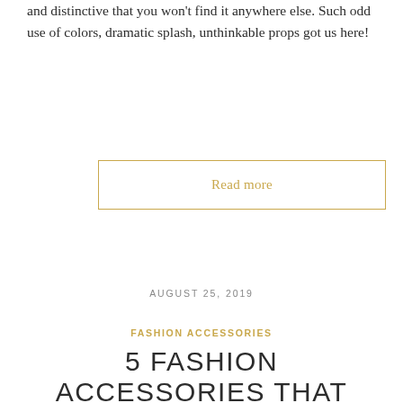and distinctive that you won't find it anywhere else. Such odd use of colors, dramatic splash, unthinkable props got us here!
Read more
AUGUST 25, 2019
FASHION ACCESSORIES
5 FASHION ACCESSORIES THAT EVERY WOMEN SHOULD OWN